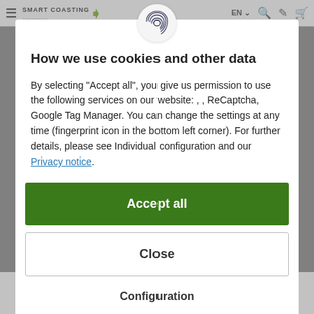Smart Coasting — EN navigation bar with hamburger menu, search, account, cart icons
How we use cookies and other data
By selecting "Accept all", you give us permission to use the following services on our website: , , ReCaptcha, Google Tag Manager. You can change the settings at any time (fingerprint icon in the bottom left corner). For further details, please see Individual configuration and our Privacy notice.
Accept all
Close
Configuration
[Figure (photo): Partial view of bicycle wheels at the bottom of the page]